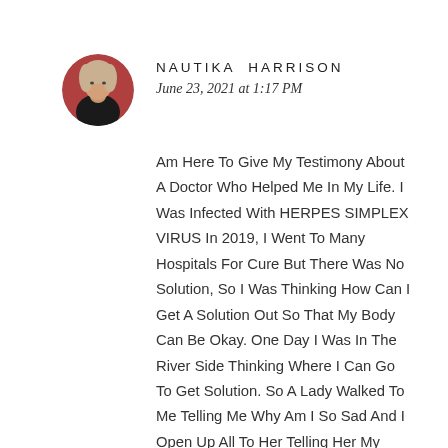[Figure (photo): Circular avatar photo of Nautika Harrison, a person with light hair, seated, wearing dark clothing, with a reddish background.]
NAUTIKA HARRISON
June 23, 2021 at 1:17 PM
Am Here To Give My Testimony About A Doctor Who Helped Me In My Life. I Was Infected With HERPES SIMPLEX VIRUS In 2019, I Went To Many Hospitals For Cure But There Was No Solution, So I Was Thinking How Can I Get A Solution Out So That My Body Can Be Okay. One Day I Was In The River Side Thinking Where I Can Go To Get Solution. So A Lady Walked To Me Telling Me Why Am I So Sad And I Open Up All To Her Telling Her My Problem, She Told Me That She Can Help Me Out, She Introduce Me To A Doctor